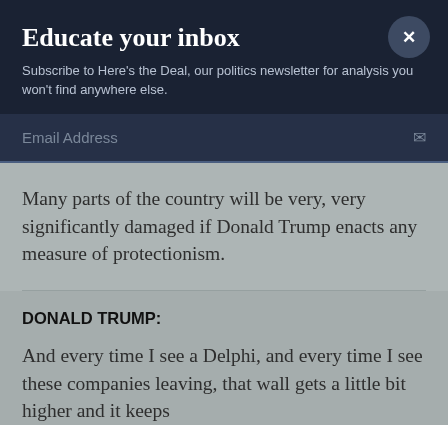Educate your inbox
Subscribe to Here's the Deal, our politics newsletter for analysis you won't find anywhere else.
Email Address
Many parts of the country will be very, very significantly damaged if Donald Trump enacts any measure of protectionism.
DONALD TRUMP:
And every time I see a Delphi, and every time I see these companies leaving, that wall gets a little bit higher and it keeps